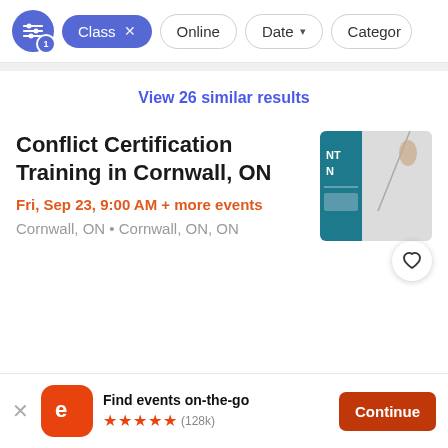Class × Online Date ∨ Category
View 26 similar results
Conflict Certification Training in Cornwall, ON
Fri, Sep 23, 9:00 AM + more events
Cornwall, ON • Cornwall, ON, ON
[Figure (photo): Event thumbnail showing a person holding a rope against a teal and white background with partial text NT and N visible]
Find events on-the-go
★★★★★ (128k)
Continue